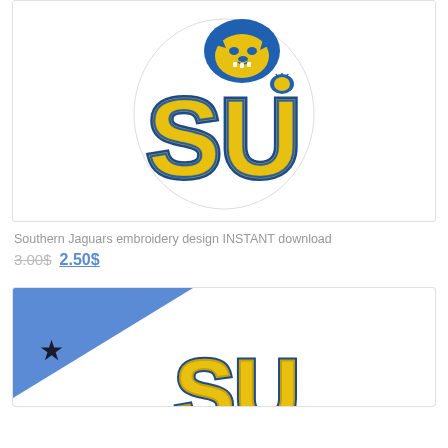[Figure (logo): Southern University Jaguars SU embroidery logo patch — blue and gold jaguar mascot over large 'SU' letters on white background]
Southern Jaguars embroidery design INSTANT download
3.00$ 2.50$
[Figure (logo): Second product card with blue triangle badge with star in top-left corner, partial SU jaguar logo visible at bottom]